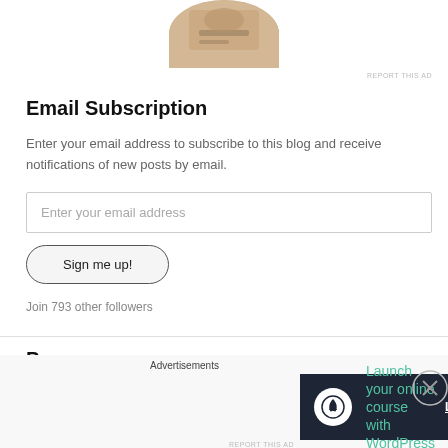[Figure (photo): Circular cropped photo of hands at a desk, partially visible at top of page]
REPORT THIS AD
Email Subscription
Enter your email address to subscribe to this blog and receive notifications of new posts by email.
Enter your email address
Sign me up!
Join 793 other followers
Pages
Advertisements
Launch your online course with WordPress
Learn More
REPORT THIS AD